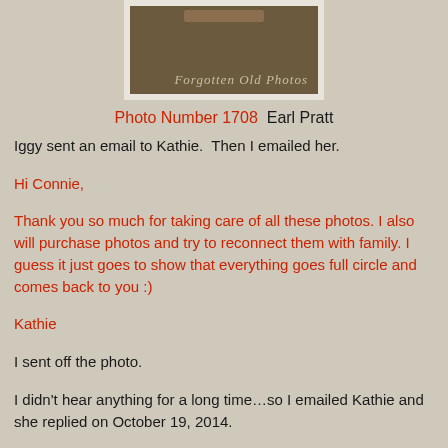[Figure (photo): Partial photograph of an old photo album or scrapbook cover with cursive text reading 'Forgotten Old Photos' on a dark brownish-green textured background with a decorative label at top.]
Photo Number 1708  Earl Pratt
Iggy sent an email to Kathie.  Then I emailed her.
Hi Connie,
Thank you so much for taking care of all these photos. I also will purchase photos and try to reconnect them with family. I guess it just goes to show that everything goes full circle and comes back to you :)
Kathie
I sent off the photo.
I didn't hear anything for a long time…so I emailed Kathie and she replied on October 19, 2014.